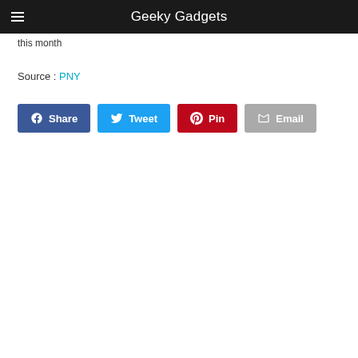Geeky Gadgets
this month
Source : PNY
[Figure (screenshot): Social share buttons: Share (Facebook), Tweet (Twitter), Pin (Pinterest), Email]